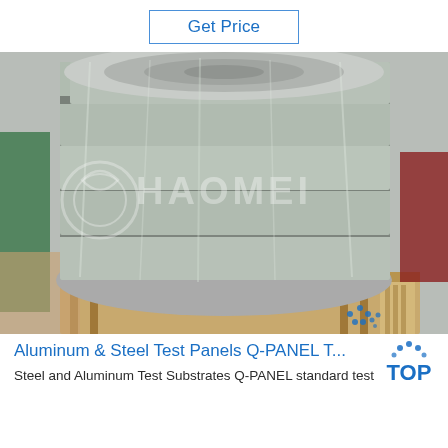Get Price
[Figure (photo): A large roll of aluminum or steel coil material wrapped in plastic/stretch film, sitting on a wooden pallet. The roll appears metallic and silvery with horizontal banding from the wrapping. A watermark 'HAOMEI' is visible across the image. Background shows a workshop or storage area.]
Aluminum & Steel Test Panels Q-PANEL T...
Steel and Aluminum Test Substrates Q-PANEL standard test